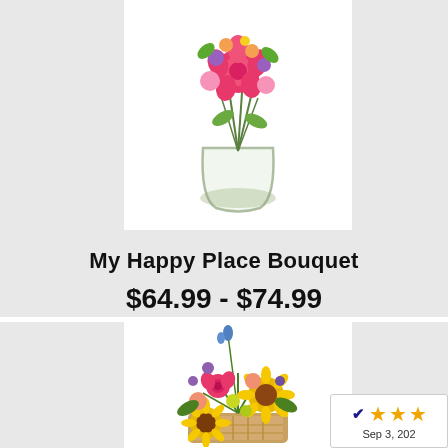[Figure (photo): Photo of a bright floral bouquet with pink roses and colorful flowers in a clear glass vase, shown against a white background.]
My Happy Place Bouquet
$64.99 - $74.99
[Figure (photo): Photo of a vibrant floral arrangement with yellow sunflowers, pink roses, purple flowers, and green foliage in a basket, shown against a white background.]
[Figure (other): Rating badge with yellow stars and date Sep 3, 2022]